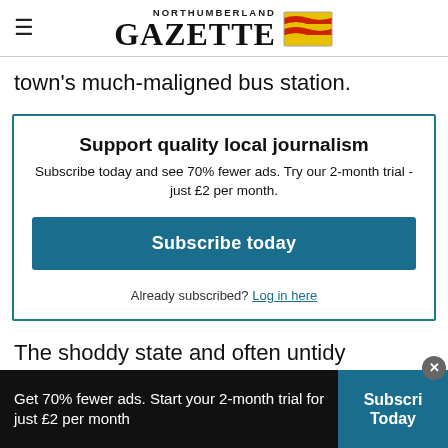NORTHUMBERLAND GAZETTE
town's much-maligned bus station.
Support quality local journalism
Subscribe today and see 70% fewer ads. Try our 2-month trial - just £2 per month.
Subscribe today
Already subscribed? Log in here
The shoddy state and often untidy appearanc
Get 70% fewer ads. Start your 2-month trial for just £2 per month
Subscri Today